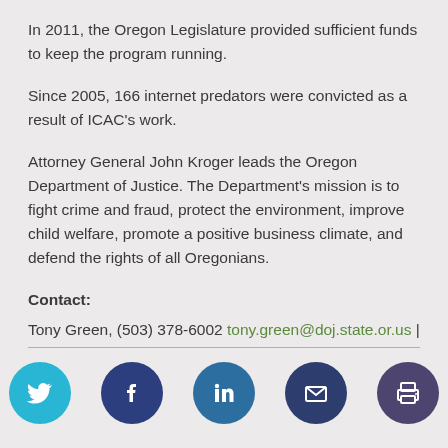In 2011, the Oregon Legislature provided sufficient funds to keep the program running.
Since 2005, 166 internet predators were convicted as a result of ICAC’s work.
Attorney General John Kroger leads the Oregon Department of Justice. The Department’s mission is to fight crime and fraud, protect the environment, improve child welfare, promote a positive business climate, and defend the rights of all Oregonians.
Contact:
Tony Green, (503) 378-6002 tony.green@doj.state.or.us |
[Figure (infographic): Social media icon bar with Twitter (cyan), Facebook (dark blue), LinkedIn (blue), Email (dark blue), and Print (purple) circular icons]